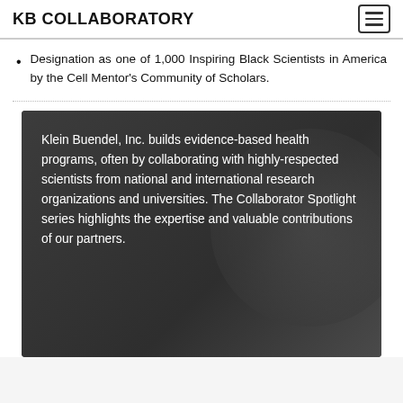KB COLLABORATORY
Designation as one of 1,000 Inspiring Black Scientists in America by the Cell Mentor's Community of Scholars.
[Figure (infographic): Dark grey banner with overlapping circular graphic. White text reads: Klein Buendel, Inc. builds evidence-based health programs, often by collaborating with highly-respected scientists from national and international research organizations and universities. The Collaborator Spotlight series highlights the expertise and valuable contributions of our partners.]